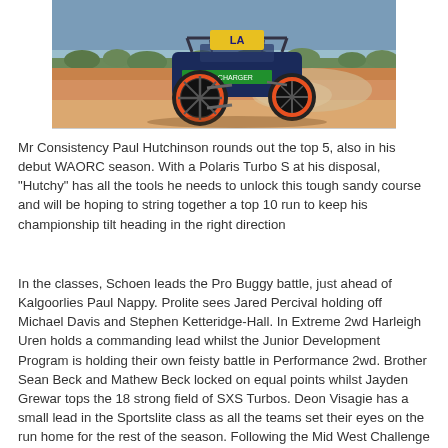[Figure (photo): An off-road racing buggy/UTV with orange-rimmed wheels kicking up dust on a sandy red dirt track. The vehicle has sponsorship decals and a roll cage visible.]
Mr Consistency Paul Hutchinson rounds out the top 5, also in his debut WAORC season. With a Polaris Turbo S at his disposal, "Hutchy" has all the tools he needs to unlock this tough sandy course and will be hoping to string together a top 10 run to keep his championship tilt heading in the right direction
In the classes, Schoen leads the Pro Buggy battle, just ahead of Kalgoorlies Paul Nappy. Prolite sees Jared Percival holding off Michael Davis and Stephen Ketteridge-Hall. In Extreme 2wd Harleigh Uren holds a commanding lead whilst the Junior Development Program is holding their own feisty battle in Performance 2wd. Brother Sean Beck and Mathew Beck locked on equal points whilst Jayden Grewar tops the 18 strong field of SXS Turbos. Deon Visagie has a small lead in the Sportslite class as all the teams set their eyes on the run home for the rest of the season. Following the Mid West Challenge is the massively popular Three Series, which always creates great racing and